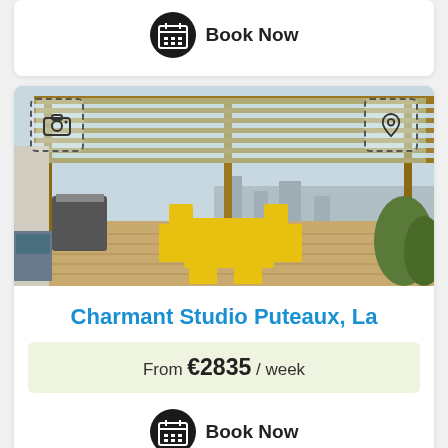Book Now
[Figure (photo): Rooftop terrace with yellow chairs and table under a wooden pergola with translucent roof panels, overlooking a cityscape]
Charmant Studio Puteaux, La
From €2835 / week
Book Now
[Figure (photo): Partially visible photo of another listing at bottom of page]